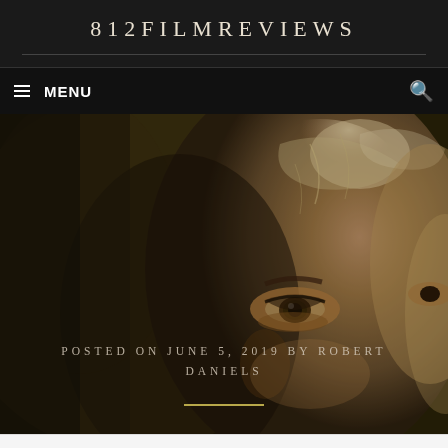812FILMREVIEWS
≡ MENU
[Figure (photo): Close-up cinematic still of a person's face with dramatic dark-olive/brown lighting, showing one eye and a portion of the face with glossy skin highlights]
POSTED ON JUNE 5, 2019 BY ROBERT DANIELS
Follow  ...